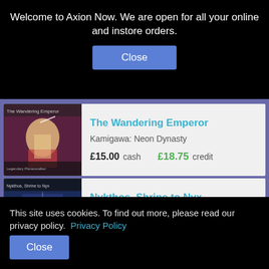Welcome to Axion Now. We are open for all your online and instore orders.
Close
The Wandering Emperor
Kamigawa: Neon Dynasty
£15.00 cash   £18.75 credit
Nykthos, Shrine to Nyx
Theros
£14.00 cash   £17.50 credit
This site uses cookies. To find out more, please read our privacy policy.
Privacy Policy
Close